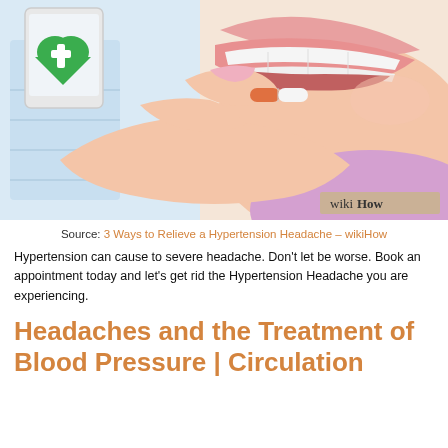[Figure (illustration): WikiHow-style illustration showing a close-up of a person taking a pill or tablet, placing it in their mouth. The person has pink lips and is holding an orange-and-white capsule with their fingers. In the upper left corner is a medical app icon showing a green heart with a white cross on a phone/tablet screen. The image has a wikiHow watermark in the lower right corner.]
Source: 3 Ways to Relieve a Hypertension Headache – wikiHow
Hypertension can cause to severe headache. Don't let be worse. Book an appointment today and let's get rid the Hypertension Headache you are experiencing.
Headaches and the Treatment of Blood Pressure | Circulation